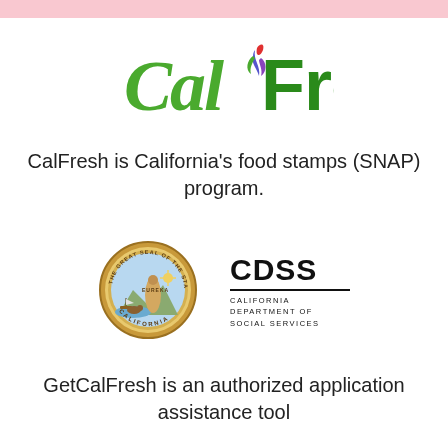[Figure (logo): CalFresh logo with green stylized text and colorful flame/leaf icon]
CalFresh is California's food stamps (SNAP) program.
[Figure (logo): Great Seal of the State of California (circular gold seal) and CDSS California Department of Social Services logo]
GetCalFresh is an authorized application assistance tool